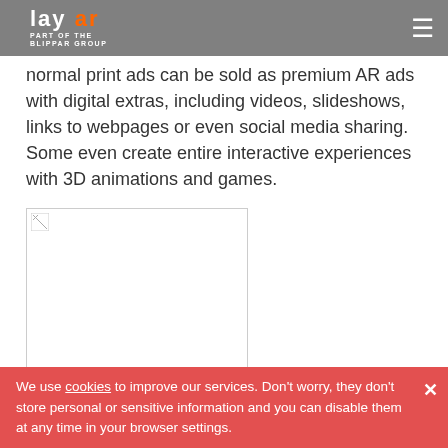lay ar · PART OF THE BLIPPAR GROUP
normal print ads can be sold as premium AR ads with digital extras, including videos, slideshows, links to webpages or even social media sharing. Some even create entire interactive experiences with 3D animations and games.
[Figure (photo): Broken/unloaded image placeholder in a bordered rectangle]
We use cookies to improve our services. Don't worry, they don't store personal or sensitive information and you can disable them at any time in your browser settings.